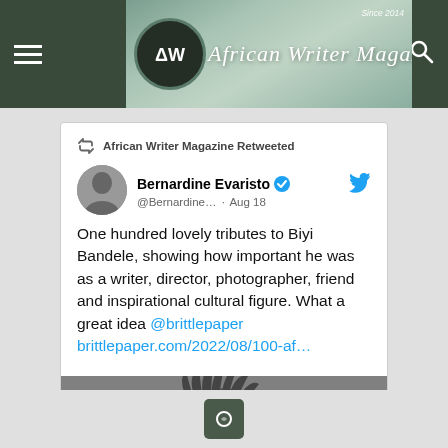[Figure (screenshot): African Writer Magazine website header/navigation bar with logo circle containing AW triangle symbol, italic script title 'African Writer Magazine', 'Since 2014' text, hamburger menu icon on left, search icon on right, dark olive green background]
African Writer Magazine Retweeted
Bernardine Evaristo @Bernardine... · Aug 18
One hundred lovely tributes to Biyi Bandele, showing how important he was as a writer, director, photographer, friend and inspirational cultural figure. What a great idea @brittlepaper brittlepaper.com/2022/08/100-af…
[Figure (photo): Black and white photograph of a man with dreadlocks wearing glasses, smiling, shown from shoulders up]
[Figure (screenshot): Small dark square button with circular arrow/refresh icon at bottom center of page]